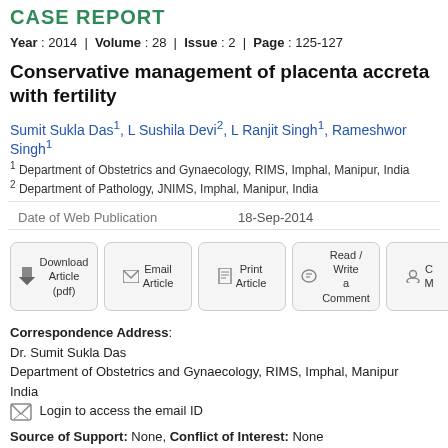CASE REPORT
Year : 2014 | Volume : 28 | Issue : 2 | Page : 125-127
Conservative management of placenta accreta with fertility
Sumit Sukla Das1, L Sushila Devi2, L Ranjit Singh1, Rameshwor Singh1
1 Department of Obstetrics and Gynaecology, RIMS, Imphal, Manipur, India
2 Department of Pathology, JNIMS, Imphal, Manipur, India
Date of Web Publication  18-Sep-2014
[Figure (infographic): Action buttons: Download Article (pdf), Email Article, Print Article, Read/Write a Comment, C M (partially visible)]
Correspondence Address:
Dr. Sumit Sukla Das
Department of Obstetrics and Gynaecology, RIMS, Imphal, Manipur
India
[email icon] Login to access the email ID
Source of Support: None, Conflict of Interest: None
[Figure (logo): CrossRef Check Citations logo with Check button]